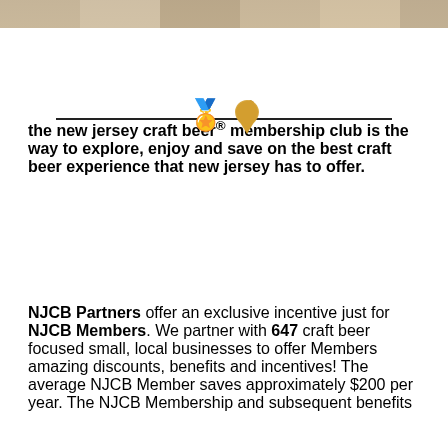[Figure (photo): Cropped photo strip at top of page showing a wooden surface with hands holding something, partially visible]
[Figure (illustration): Golden/amber New Jersey state shape icon centered on a horizontal dividing line]
the new jersey craft beer® membership club is the way to explore, enjoy and save on the best craft beer experience that new jersey has to offer.
NJCB Partners offer an exclusive incentive just for NJCB Members. We partner with 647 craft beer focused small, local businesses to offer Members amazing discounts, benefits and incentives! The average NJCB Member saves approximately $200 per year. The NJCB Membership and subsequent benefits